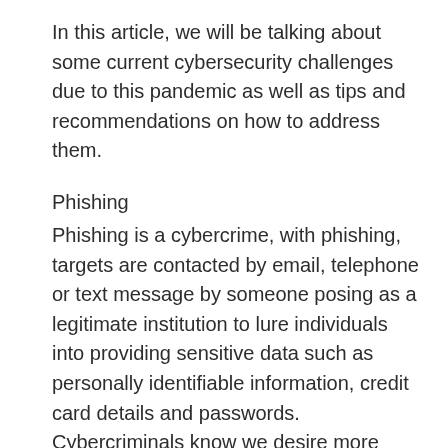In this article, we will be talking about some current cybersecurity challenges due to this pandemic as well as tips and recommendations on how to address them.
Phishing
Phishing is a cybercrime, with phishing, targets are contacted by email, telephone or text message by someone posing as a legitimate institution to lure individuals into providing sensitive data such as personally identifiable information, credit card details and passwords. Cybercriminals know we desire more information at this time, and they are using that as bait to get people to click on malicious links via emails and text messages.
These messages often have an appearance of